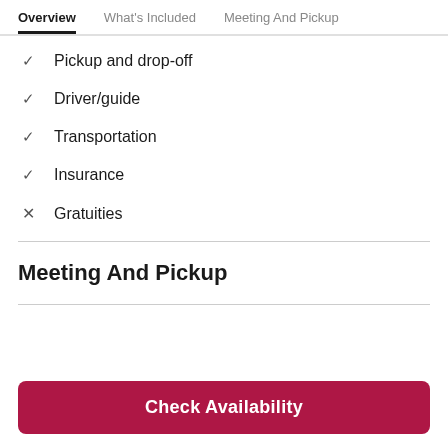Overview | What's Included | Meeting And Pickup
✓ Pickup and drop-off
✓ Driver/guide
✓ Transportation
✓ Insurance
✗ Gratuities
Meeting And Pickup
Check Availability